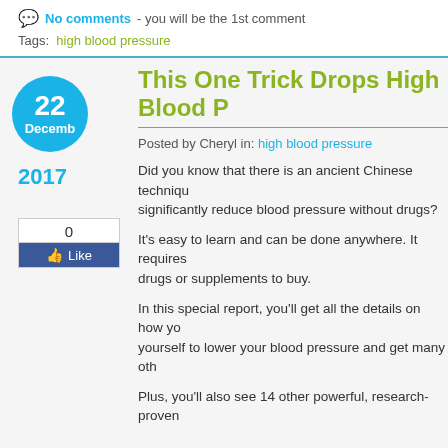No comments - you will be the 1st comment
Tags: high blood pressure
This One Trick Drops High Blood P...
Posted by Cheryl in: high blood pressure
2017
0 Like
Did you know that there is an ancient Chinese technique that can significantly reduce blood pressure without drugs?
It's easy to learn and can be done anywhere. It requires no drugs or supplements to buy.
In this special report, you'll get all the details on how you can use it yourself to lower your blood pressure and get many oth...
Plus, you'll also see 14 other powerful, research-proven...